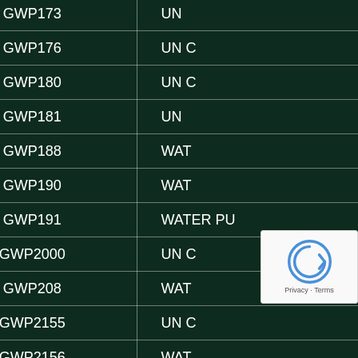| Code | Category |
| --- | --- |
| GWP173 | UN C |
| GWP176 | UN C |
| GWP180 | UN C |
| GWP181 | UN |
| GWP188 | WAT |
| GWP190 | WAT |
| GWP191 | WATER PU |
| GWP2000 | UN C |
| GWP208 | WAT |
| GWP2155 | UN C |
| GWP2156 | WAT |
| GWP2159 | UN C |
| GWP2165 |  |
| GWP2707 | WAT |